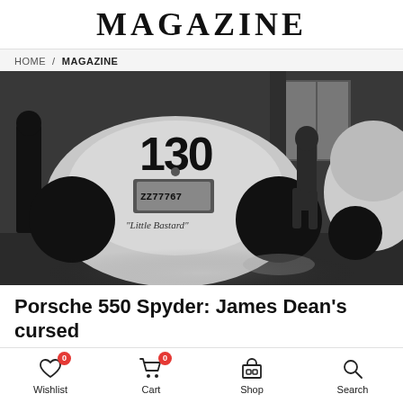MAGAZINE
HOME / MAGAZINE
[Figure (photo): Black and white photograph of James Dean's Porsche 550 Spyder numbered 130 with 'Little Bastard' written on the rear, parked in a garage with a man walking in the background next to a Volkswagen Beetle.]
Porsche 550 Spyder: James Dean's cursed
Wishlist 0  Cart 0  Shop  Search